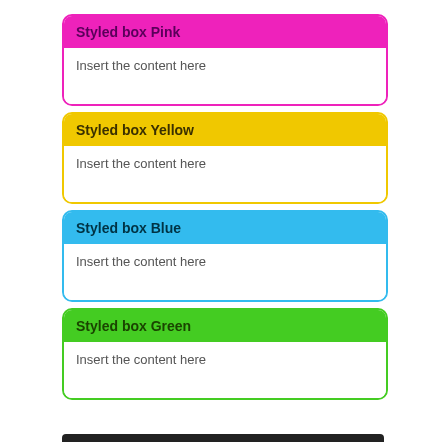Styled box Pink
Insert the content here
Styled box Yellow
Insert the content here
Styled box Blue
Insert the content here
Styled box Green
Insert the content here